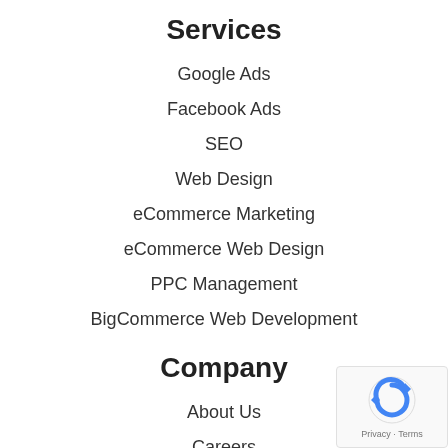Services
Google Ads
Facebook Ads
SEO
Web Design
eCommerce Marketing
eCommerce Web Design
PPC Management
BigCommerce Web Development
Company
About Us
Careers
Blog